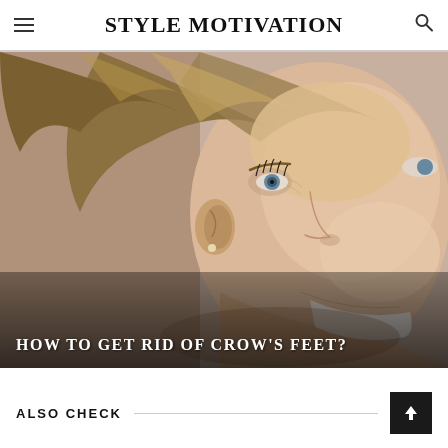STYLE MOTIVATION
[Figure (photo): Close-up portrait of a smiling woman with blonde-brown hair swept back, looking upward and to the right. The image shows her face in profile/three-quarter view with clear skin and long eyelashes.]
HOW TO GET RID OF CROW'S FEET?
ALSO CHECK